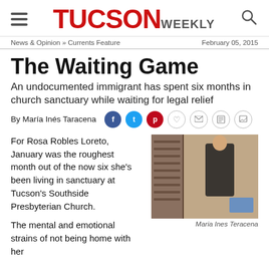TUCSON WEEKLY
News & Opinion » Currents Feature   February 05, 2015
The Waiting Game
An undocumented immigrant has spent six months in church sanctuary while waiting for legal relief
By María Inés Taracena
For Rosa Robles Loreto, January was the roughest month out of the now six she's been living in sanctuary at Tucson's Southside Presbyterian Church.
[Figure (photo): Woman standing in a room with bookshelves, photo by Maria Ines Teracena]
Maria Ines Teracena
The mental and emotional strains of not being home with her